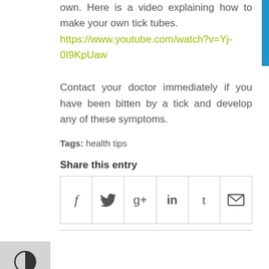own. Here is a video explaining how to make your own tick tubes. https://www.youtube.com/watch?v=Yj-0I9KpUaw
Contact your doctor immediately if you have been bitten by a tick and develop any of these symptoms.
Tags: health tips
Share this entry
[Figure (other): Social share buttons row: Facebook (f), Twitter (bird), Google+ (g+), LinkedIn (in), Tumblr (t), Email (envelope)]